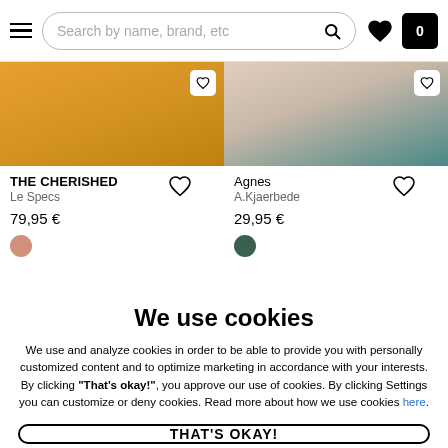Search by name, brand, etc
[Figure (photo): Product image - yellow/orange fabric item (THE CHERISHED, Le Specs)]
[Figure (photo): Product image - teal/beige fabric item (Agnes, A.Kjaerbede)]
THE CHERISHED
Le Specs
79,95 €
Agnes
A.Kjaerbede
29,95 €
We use cookies
We use and analyze cookies in order to be able to provide you with personally customized content and to optimize marketing in accordance with your interests. By clicking "That's okay!", you approve our use of cookies. By clicking Settings you can customize or deny cookies. Read more about how we use cookies here.
THAT'S OKAY!
Settings